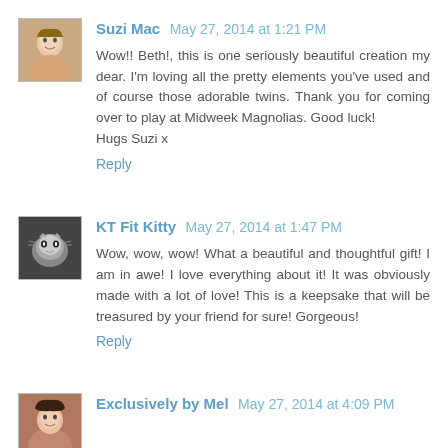Suzi Mac May 27, 2014 at 1:21 PM
Wow!! Beth!, this is one seriously beautiful creation my dear. I'm loving all the pretty elements you've used and of course those adorable twins. Thank you for coming over to play at Midweek Magnolias. Good luck!
Hugs Suzi x
Reply
KT Fit Kitty May 27, 2014 at 1:47 PM
Wow, wow, wow! What a beautiful and thoughtful gift! I am in awe! I love everything about it! It was obviously made with a lot of love! This is a keepsake that will be treasured by your friend for sure! Gorgeous!
Reply
Exclusively by Mel May 27, 2014 at 4:09 PM